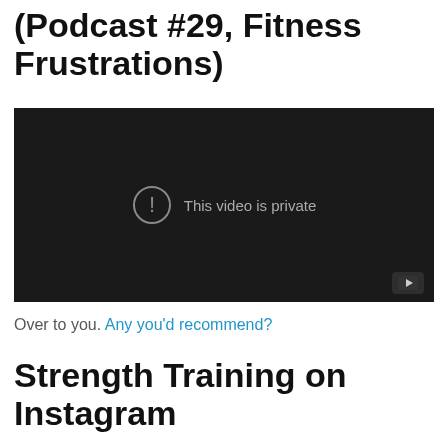(Podcast #29, Fitness Frustrations)
[Figure (screenshot): Embedded YouTube video player showing 'This video is private' message with an exclamation mark icon on a dark background]
Over to you. Any you'd recommend?
Strength Training on Instagram